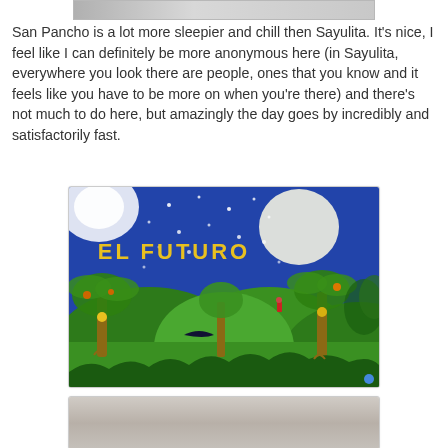[Figure (photo): Partial top edge of a photo, cropped]
San Pancho is a lot more sleepier and chill then Sayulita. It's nice, I feel like I can definitely be more anonymous here (in Sayulita, everywhere you look there are people, ones that you know and it feels like you have to be more on when you're there) and there's not much to do here, but amazingly the day goes by incredibly and satisfactorily fast.
[Figure (photo): A colorful mural painted on a wall showing tropical jungle scene with palm trees and the text 'EL FUTURO' in yellow letters against a blue starry sky with a moon]
[Figure (photo): Bottom portion of a page showing the top edge of another photo, partially visible]